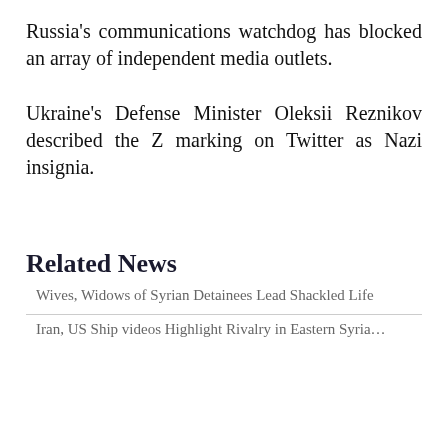Russia's communications watchdog has blocked an array of independent media outlets.
Ukraine's Defense Minister Oleksii Reznikov described the Z marking on Twitter as Nazi insignia.
Related News
Wives, Widows of Syrian Detainees Lead Shackled Life
Iran, US Ship videos Highlight Rivalry in Eastern Syria...